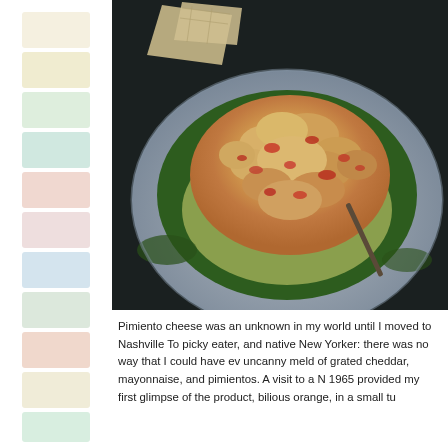[Figure (photo): Color swatches arranged vertically on the left side of the page, showing various pastel shades including cream, light green, light blue, pink, and light yellow]
[Figure (photo): Overhead photograph of pimiento cheese served in a lettuce cup on a gray plate, garnished with greens and crackers, on a dark background]
Pimiento cheese was an unknown in my world until I moved to Nashville To picky eater, and native New Yorker: there was no way that I could have ev uncanny meld of grated cheddar, mayonnaise, and pimientos. A visit to a N 1965 provided my first glimpse of the product, bilious orange, in a small tu